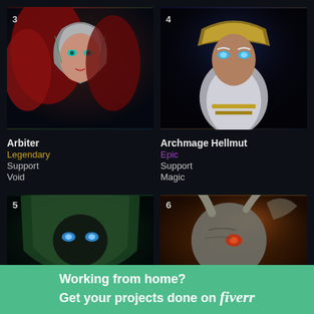[Figure (illustration): Character portrait #3 - Arbiter, a female warrior with red hair, teal eyes, silver armor with green accents, fantasy digital art on dark background]
[Figure (illustration): Character portrait #4 - Archmage Hellmut, an elderly bearded wizard with glowing blue eyes, gold and dark blue armor, fantasy digital art on dark background]
Arbiter
Legendary
Support
Void
Archmage Hellmut
Epic
Support
Magic
[Figure (illustration): Character portrait #5 - hooded figure in green cloak with glowing blue eyes, fantasy digital art]
[Figure (illustration): Character portrait #6 - beast/demon creature with horns and orange/grey tones, fantasy digital art]
Working from home? Get your projects done on fiverr